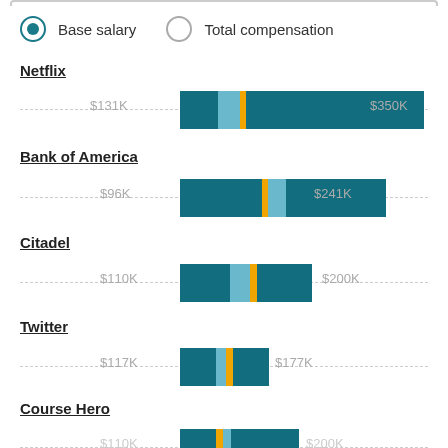Base salary  Total compensation
Netflix
[Figure (bar-chart): Netflix base salary range]
Bank of America
[Figure (bar-chart): Bank of America base salary range]
Citadel
[Figure (bar-chart): Citadel base salary range]
Twitter
[Figure (bar-chart): Twitter base salary range]
Course Hero
[Figure (bar-chart): Course Hero base salary range]